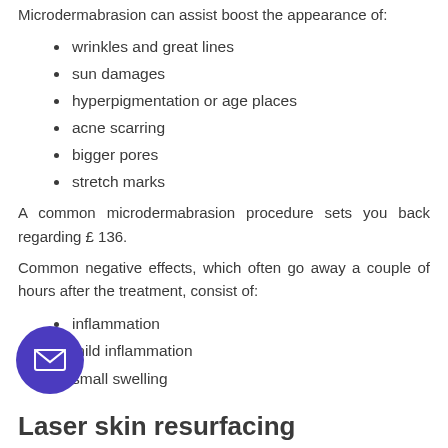Microdermabrasion can assist boost the appearance of:
wrinkles and great lines
sun damages
hyperpigmentation or age places
acne scarring
bigger pores
stretch marks
A common microdermabrasion procedure sets you back regarding £ 136.
Common negative effects, which often go away a couple of hours after the treatment, consist of:
inflammation
mild inflammation
small swelling
Laser skin resurfacing